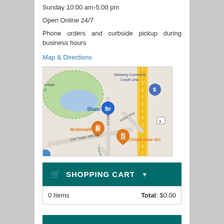Sunday 10:00 am-5:00 pm
Open Online 24/7
Phone orders and curbside pickup during business hours
Map & Directions
[Figure (map): Google Maps screenshot showing Shaw's location near Old Tower Hill Rd, with McDonald's, Chophouse Gri, Westerly Community Credit Union markers visible]
SHOPPING CART
| 0 Items | Total: $0.00 |